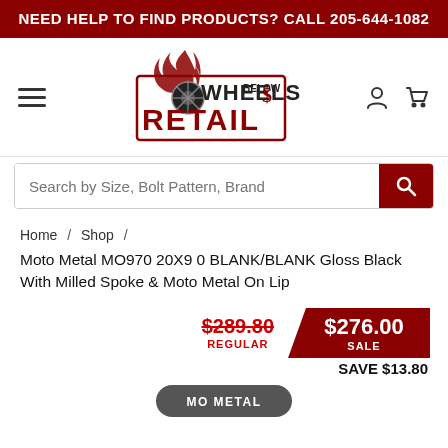NEED HELP TO FIND PRODUCTS? CALL 205-644-1082
[Figure (logo): Wheels Below Retail logo with flame and wheel graphic]
Search by Size, Bolt Pattern, Brand
Home / Shop / Moto Metal MO970 20X9 0 BLANK/BLANK Gloss Black With Milled Spoke & Moto Metal On Lip
Regular price $289.80, Sale price $276.00, SAVE $13.80
[Figure (logo): Moto Metal brand logo partial at bottom]